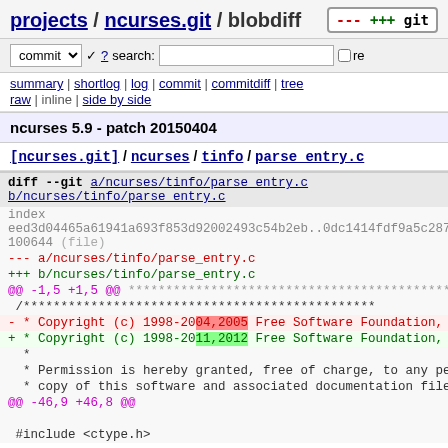projects / ncurses.git / blobdiff
commit ? search: re
summary | shortlog | log | commit | commitdiff | tree
raw | inline | side by side
ncurses 5.9 - patch 20150404
[ncurses.git] / ncurses / tinfo / parse_entry.c
diff --git a/ncurses/tinfo/parse_entry.c b/ncurses/tinfo/parse_entry.c
index eed3d04465a61941a693f853d92002493c54b2eb..0dc1414fdf9a5c2874 100644 (file)
--- a/ncurses/tinfo/parse_entry.c
+++ b/ncurses/tinfo/parse_entry.c
@@ -1,5 +1,5 @@
 /****...
- * Copyright (c) 1998-2004,2005 Free Software Foundation, I
+ * Copyright (c) 1998-2011,2012 Free Software Foundation, I
  *
  * Permission is hereby granted, free of charge, to any per
  * copy of this software and associated documentation files
@@ -46,9 +46,8 @@

 #include <ctype.h>